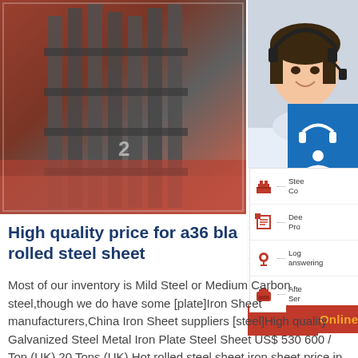[Figure (photo): Industrial steel plates and structural steel beams stacked in a warehouse or outdoor yard, reddish-brown painted structures]
[Figure (photo): Female customer service representative wearing a headset, smiling, overlaid with blue contact buttons (headset icon, phone icon, Skype icon) and a feature list panel]
High quality price for a36 bla rolled steel sheet
Most of our inventory is Mild Steel or Medium Carbon steel,though we do have some [plate]Iron Sheet manufacturers,China Iron Sheet suppliers [steel]High quality Galvanized Steel Metal Iron Plate Steel Sheet US$ 530 600 / Ton (UK) 20 Tons (UK) Hot rolled steel sheet iron sheet price in kenya types of iron sheets